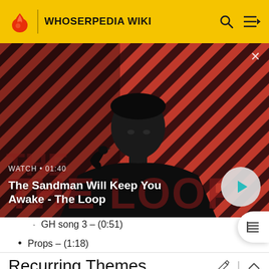WHOSERPEDIA WIKI
[Figure (screenshot): Video thumbnail for 'The Sandman Will Keep You Awake - The Loop' showing a dark-clad figure with a raven on shoulder against a red-and-dark striped background. Overlay shows WATCH • 01:40 and a play button.]
GH song 3 – (0:51)
Props – (1:18)
Recurring Themes